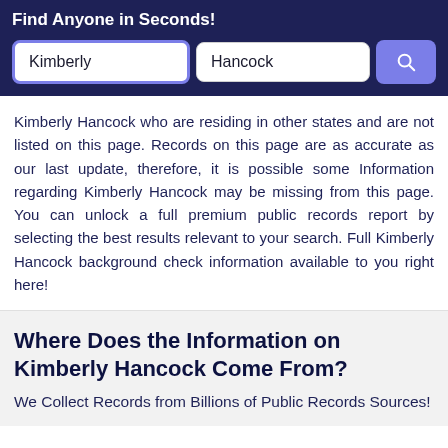Find Anyone in Seconds!
[Figure (screenshot): Search interface with two text inputs labeled 'Kimberly' and 'Hancock' and a blue search button with magnifying glass icon]
Kimberly Hancock who are residing in other states and are not listed on this page. Records on this page are as accurate as our last update, therefore, it is possible some Information regarding Kimberly Hancock may be missing from this page. You can unlock a full premium public records report by selecting the best results relevant to your search. Full Kimberly Hancock background check information available to you right here!
Where Does the Information on Kimberly Hancock Come From?
We Collect Records from Billions of Public Records Sources!